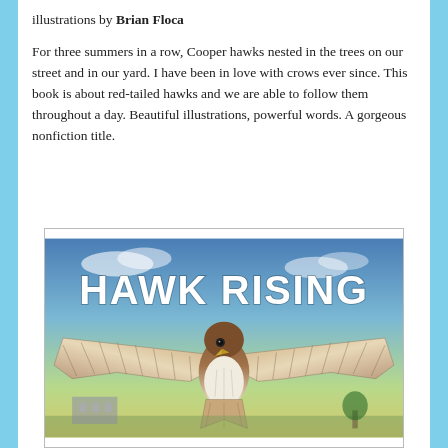illustrations by Brian Floca
For three summers in a row, Cooper hawks nested in the trees on our street and in our yard. I have been in love with crows ever since. This book is about red-tailed hawks and we are able to follow them throughout a day. Beautiful illustrations, powerful words. A gorgeous nonfiction title.
[Figure (illustration): Book cover of 'Hawk Rising' showing a large red-tailed hawk with wings spread wide against a sky background, with the title 'HAWK RISING' in large white block letters at the top.]